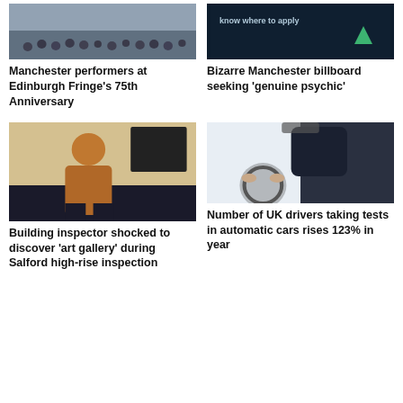[Figure (photo): Crowd of people at Edinburgh Fringe festival]
Manchester performers at Edinburgh Fringe's 75th Anniversary
[Figure (photo): Dark billboard with text 'know where to apply' and green triangle logo]
Bizarre Manchester billboard seeking 'genuine psychic'
[Figure (photo): Man in brown shirt standing in a cluttered art studio]
Building inspector shocked to discover 'art gallery' during Salford high-rise inspection
[Figure (photo): Person seen from behind driving a car, hands on steering wheel]
Number of UK drivers taking tests in automatic cars rises 123% in year